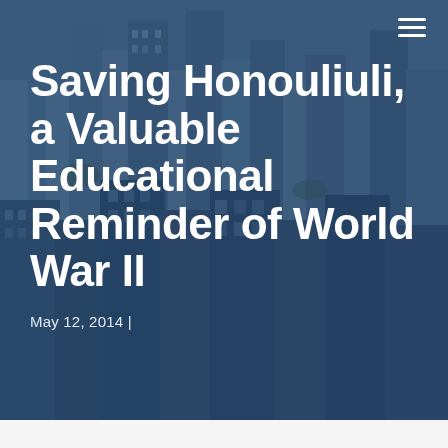[Figure (photo): Aerial photograph of Honolulu cityscape with tall buildings and blue teal overlay tint]
Saving Honouliuli, a Valuable Educational Reminder of World War II
May 12, 2014 |